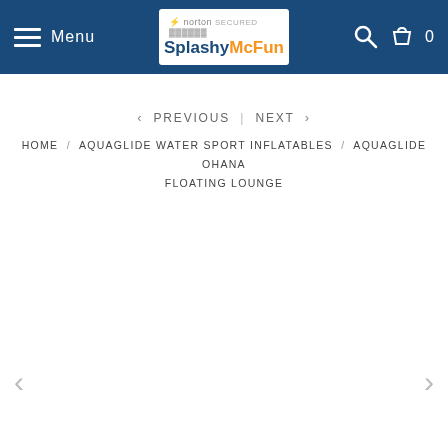Menu | Splashy McFun logo | Search | Cart 0
< PREVIOUS | NEXT >
HOME / AQUAGLIDE WATER SPORT INFLATABLES / AQUAGLIDE OHANA FLOATING LOUNGE